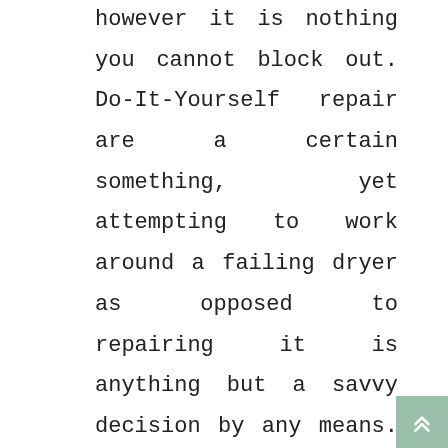however it is nothing you cannot block out. Do-It-Yourself repair are a certain something, yet attempting to work around a failing dryer as opposed to repairing it is anything but a savvy decision by any means. Overlooking the issue for a really long time could bring about your dryer being harmed unrecoverable, expecting you to buy another dryer and manage the problems of new appliance establishment. In the event that you are sure about your Do-It-Yourself repair abilities, you